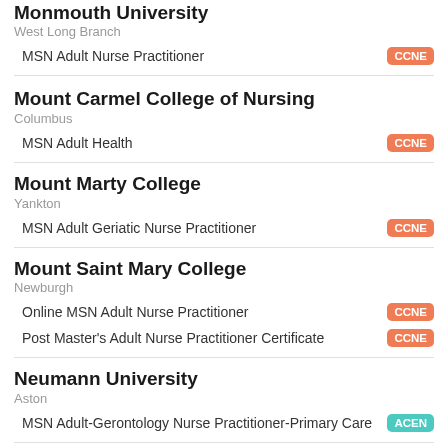Monmouth University
West Long Branch
MSN Adult Nurse Practitioner — CCNE
Mount Carmel College of Nursing
Columbus
MSN Adult Health — CCNE
Mount Marty College
Yankton
MSN Adult Geriatic Nurse Practitioner — CCNE
Mount Saint Mary College
Newburgh
Online MSN Adult Nurse Practitioner — CCNE
Post Master's Adult Nurse Practitioner Certificate — CCNE
Neumann University
Aston
MSN Adult-Gerontology Nurse Practitioner-Primary Care — ACEN
New York University
New York